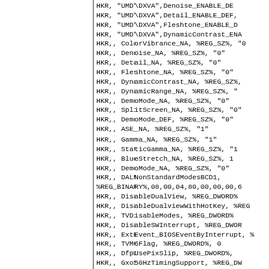HKR, "UMD\DXVA",Denoise_ENABLE_DE...
HKR, "UMD\DXVA",Detail_ENABLE_DEF,...
HKR, "UMD\DXVA",Fleshtone_ENABLE_D...
HKR, "UMD\DXVA",DynamicContrast_ENA...
HKR,, ColorVibrance_NA, %REG_SZ%, "0...
HKR,, Denoise_NA, %REG_SZ%, "0"
HKR,, Detail_NA, %REG_SZ%, "0"
HKR,, Fleshtone_NA, %REG_SZ%, "0"
HKR,, DynamicContrast_NA, %REG_SZ%,...
HKR,, DynamicRange_NA, %REG_SZ%,...
HKR,, DemoMode_NA, %REG_SZ%, "0"
HKR,, SplitScreen_NA, %REG_SZ%, "0"
HKR,, DemoMode_DEF, %REG_SZ%, "0"...
HKR,, ASE_NA, %REG_SZ%, "1"
HKR,, Gamma_NA, %REG_SZ%, "1"
HKR,, StaticGamma_NA, %REG_SZ%, "1...
HKR,, BlueStretch_NA, %REG_SZ%, 1
HKR,, DemoMode_NA, %REG_SZ%, "0"
HKR,, DALNonStandardModesBCD1,
%REG_BINARY%,08,00,04,80,00,00,00,6...
HKR,, DisableDualView, %REG_DWORD%...
HKR,, DisableDualviewWithHotKey, %REG...
HKR,, TVDisableModes, %REG_DWORD%...
HKR,, DisableSWInterrupt, %REG_DWOR...
HKR,, ExtEvent_BIOSEventByInterrupt, %...
HKR,, TVM6Flag, %REG_DWORD%, 0
HKR,, DfpUsePixSlip, %REG_DWORD%,...
HKR,, Gxo50HzTimingSupport, %REG_DW...
HKR,, EnableCrossFireAutoLink, %REG_D...
HKR,, DFP_AddHDTVPixelFormats, %REG...
HKR,, Gxo24HzTimingSupport, %REG_DW...
HKR, "UMD\DXVA",DI_METHOD_DEF,%...